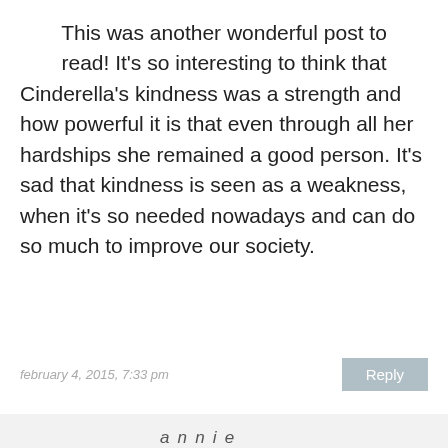This was another wonderful post to read! It's so interesting to think that Cinderella's kindness was a strength and how powerful it is that even through all her hardships she remained a good person. It's sad that kindness is seen as a weakness, when it's so needed nowadays and can do so much to improve our society.
february 4, 2015, 7:33 pm
Reply
annie
thank you 🙂 I agree kindness can be so effective and so powerful – Martin Luther King Jr. knew that. Ghandi knew that. But we forget it so easily because it doesn't *feel* as powerful or strong. I think